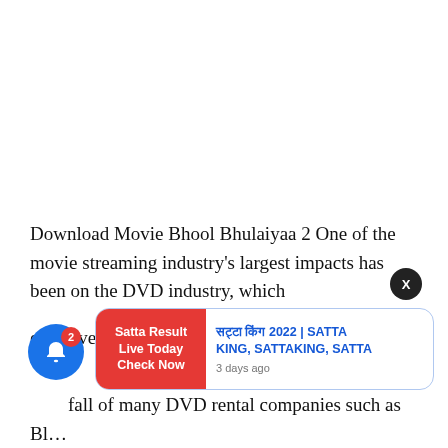[Figure (other): Large white blank area at the top of the page (advertisement or image placeholder)]
Download Movie Bhool Bhulaiyaa 2 One of the movie streaming industry's largest impacts has been on the DVD industry, which
effectively met its downfall content.
fall of many DVD rental companies such as Blockbuster in July 2015, a article from the New York...
[Figure (screenshot): Toast notification popup with red left panel reading 'Satta Result Live Today Check Now' and blue text on the right reading 'सट्टा किंग 2022 | SATTA KING, SATTAKING, SATTA' with timestamp '3 days ago'. A blue notification bell icon with red badge showing '2' is visible at the bottom left. A black close (X) button is at upper right of the popup.]